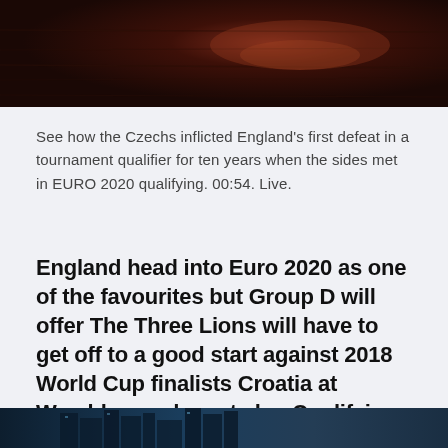[Figure (photo): Dark reddish-brown water surface with light reflection, appears to be a night or dusk scene]
See how the Czechs inflicted England's first defeat in a tournament qualifier for ten years when the sides met in EURO 2020 qualifying. 00:54. Live.
England head into Euro 2020 as one of the favourites but Group D will offer The Three Lions will have to get off to a good start against 2018 World Cup finalists Croatia at Wembley, and must also Qualifying: Grou
[Figure (photo): Partial view of a building or stadium at night with blue-tinted lighting]